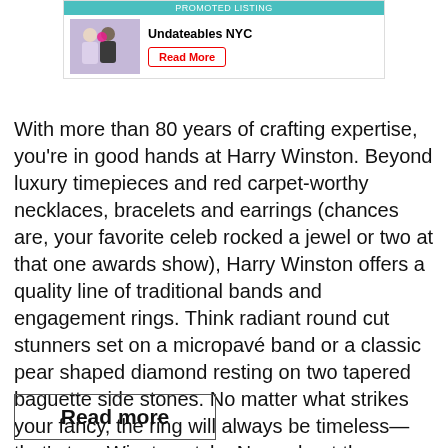[Figure (screenshot): Promoted listing ad banner for Undateables NYC with a photo of two people and a Read More button]
With more than 80 years of crafting expertise, you're in good hands at Harry Winston. Beyond luxury timepieces and red carpet-worthy necklaces, bracelets and earrings (chances are, your favorite celeb rocked a jewel or two at that one awards show), Harry Winston offers a quality line of traditional bands and engagement rings. Think radiant round cut stunners set on a micropavé band or a classic pear shaped diamond resting on two tapered baguette side stones. No matter what strikes your fancy, the ring will always be timeless—that's true Winston style. Now, about those price tags: Let's just say if you're ready to drop bills on a Harry Winston, he or she must really be the one.
Read more